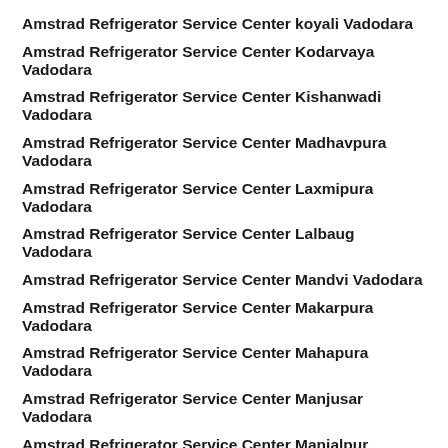Amstrad Refrigerator Service Center koyali Vadodara
Amstrad Refrigerator Service Center Kodarvaya Vadodara
Amstrad Refrigerator Service Center Kishanwadi Vadodara
Amstrad Refrigerator Service Center Madhavpura Vadodara
Amstrad Refrigerator Service Center Laxmipura Vadodara
Amstrad Refrigerator Service Center Lalbaug Vadodara
Amstrad Refrigerator Service Center Mandvi Vadodara
Amstrad Refrigerator Service Center Makarpura Vadodara
Amstrad Refrigerator Service Center Mahapura Vadodara
Amstrad Refrigerator Service Center Manjusar Vadodara
Amstrad Refrigerator Service Center Manjalpur Vadodara